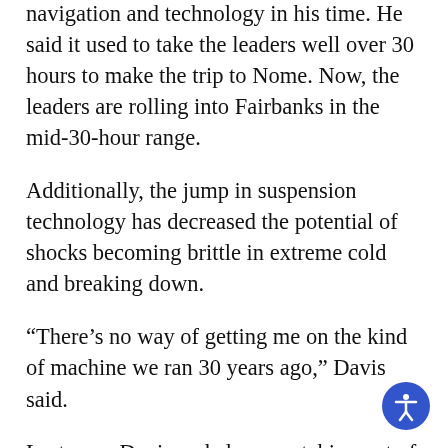navigation and technology in his time. He said it used to take the leaders well over 30 hours to make the trip to Nome. Now, the leaders are rolling into Fairbanks in the mid-30-hour range.
Additionally, the jump in suspension technology has decreased the potential of shocks becoming brittle in extreme cold and breaking down.
“There’s no way of getting me on the kind of machine we ran 30 years ago,” Davis said.
Last year, Davis ended up scratching out of the race. This year, he expects to be in Fairbanks when it’s all said and done.
“It’s gonna be pretty hard,” he said. “It’s been or eight years since I’ve won, and I know there are